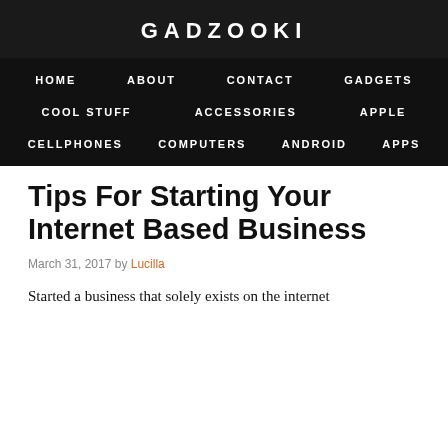GADZOOKI
HOME   ABOUT   CONTACT   GADGETS   COOL STUFF   ACCESSORIES   APPLE   CELLPHONES   COMPUTERS   ANDROID   APPS
Tips For Starting Your Internet Based Business
March 31, 2017 by Lucilla
Started a business that solely exists on the internet